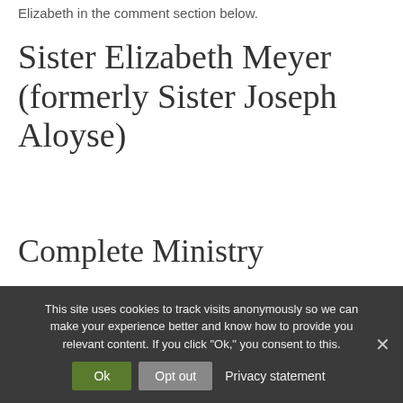Elizabeth in the comment section below.
Sister Elizabeth Meyer (formerly Sister Joseph Aloyse)
Complete Ministry
In Indiana: Teacher, St. Jude, Fort Wayne (1952-57); Teacher, Nativity, Indianapolis (1957-58); Teacher, St.
This site uses cookies to track visits anonymously so we can make your experience better and know how to provide you relevant content. If you click "Ok," you consent to this.